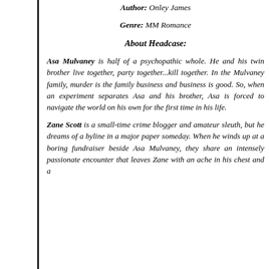Author: Onley James
Genre: MM Romance
About Headcase:
Asa Mulvaney is half of a psychopathic whole. He and his twin brother live together, party together...kill together. In the Mulvaney family, murder is the family business and business is good. So, when an experiment separates Asa and his brother, Asa is forced to navigate the world on his own for the first time in his life.
Zane Scott is a small-time crime blogger and amateur sleuth, but he dreams of a byline in a major paper someday. When he winds up at a boring fundraiser beside Asa Mulvaney, they share an intensely passionate encounter that leaves Zane with an ache in his chest and a